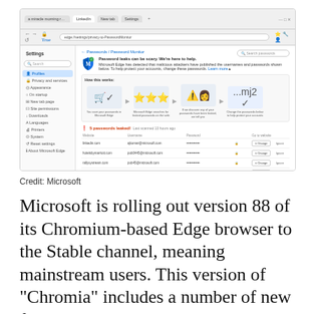[Figure (screenshot): Microsoft Edge browser screenshot showing Password Monitor settings page. Settings sidebar visible on left with items: Profiles, Privacy and services, Appearance, On startup, New tab page, Site permissions, Downloads, Languages, Printers, System, Reset settings, About Microsoft Edge. Main content shows Password Monitor with shield icon, warning about password leaks, 'How this works' section with 3-step illustration, and a table of 5 leaked passwords with Website, Username, Password columns and Change/Ignore buttons.]
Credit: Microsoft
Microsoft is rolling out version 88 of its Chromium-based Edge browser to the Stable channel, meaning mainstream users. This version of "Chromia" includes a number of new features...